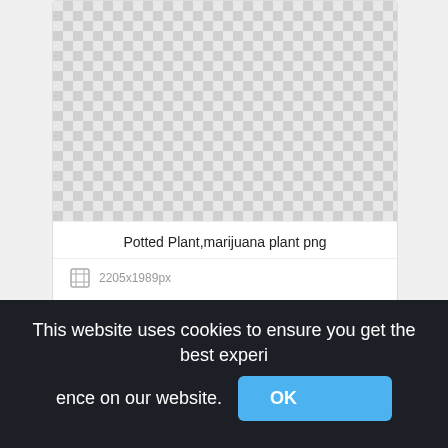[Figure (screenshot): Checkerboard transparent background image preview area for first card]
Potted Plant,marijuana plant png
2205x1989px
[Figure (screenshot): Checkerboard transparent background image preview area for second card]
This website uses cookies to ensure you get the best experience on our website.